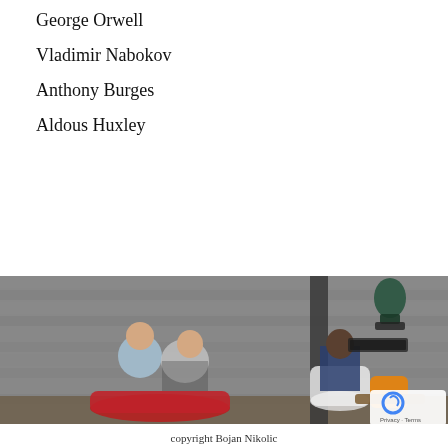George Orwell
Vladimir Nabokov
Anthony Burges
Aldous Huxley
[Figure (photo): Indoor scene with a concrete wall background. On the left, two people sitting on a red ottoman, one leaning in to kiss the other. On the right, an older woman in a dark blue jacket sits in a white chair, looking at her phone. An orange bag is on a small wooden table beside her. A dark green bronze bust sculpture is mounted on the wall above, with a small placard below it. A reCAPTCHA privacy badge appears in the bottom right corner.]
copyright Bojan Nikolic